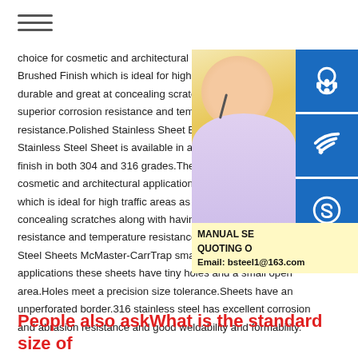≡ (hamburger menu)
choice for cosmetic and architectural ap... Brushed Finish which is ideal for high tr... durable and great at concealing scratche... superior corrosion resistance and tempe... resistance.Polished Stainless Sheet Bru... Stainless Steel Sheet is available in a Br... finish in both 304 and 316 grades.The m... cosmetic and architectural applications i... which is ideal for high traffic areas as it i... concealing scratches along with having s... resistance and temperature resistance.P... Steel Sheets McMaster-CarrTrap small particles in low-flow applications these sheets have tiny holes and a small open area.Holes meet a precision size tolerance.Sheets have an unperforated border.316 stainless steel has excellent corrosion and abrasion resistance and good weldability and formability.
[Figure (photo): Customer service woman with headset on yellow background, with blue icon buttons for contact (headset, phone, Skype) and yellow info box showing MANUAL SE... QUOTING O... Email: bsteel1@163.com]
People also askWhat is the standard size of stainless steel sheets?What is the standard